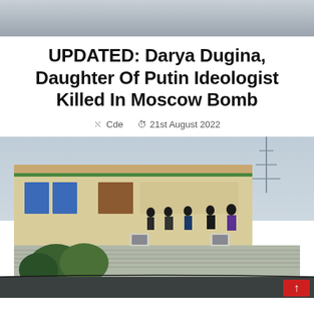[Figure (photo): Top partial image showing a grey road/asphalt surface, cropped at the top of the page]
UPDATED: Darya Dugina, Daughter Of Putin Ideologist Killed In Moscow Bomb
Cde   21st August 2022
[Figure (photo): Photograph showing rooftop of a building with several people standing on it, trees in the foreground, a corrugated metal roof, blue windows, air conditioning units, and a communications tower in the background. A 'CAR W' sign and red scroll-to-top button overlay visible at the bottom.]